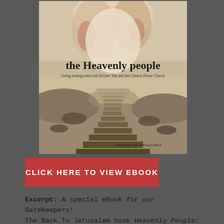[Figure (photo): Book cover of 'the Heavenly people: Going underground with Brother Yun and the Chinese House Church' by Brother Zhu & Eugene Bach. Cover shows a path leading to a Great Wall of China scene with artistic hands above.]
CLICK HERE TO VIEW EBOOK
Excerpt: A special eBook for our GateKeepers! The Back To Jerusalem book Heavenly People: Going underground with Brother Yun and the...